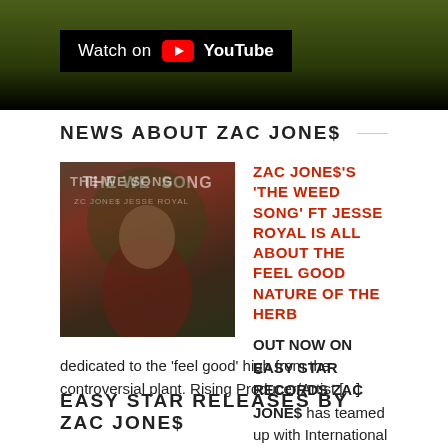[Figure (screenshot): YouTube video thumbnail with 'Watch on YouTube' badge overlay, dark green background]
NEWS ABOUT ZAC JONE$
[Figure (photo): Album cover for 'The Weed Song' showing a young man in a dark red jacket against green foliage background]
ZAC JONE$'S 'THE WEED SONG' FT JESSE ROYAL IS ALL ABOUT THE FEEL GOOD NATURE OF THE HERB
OUT NOW ON EASY STAR RECORDS ZAC JONE$ has teamed up with International Reggae Star Jesse Royal on 'The Weed Song', dedicated to the 'feel good' high from the controversial plant. Rising Producer/Artist [...]
EASY STAR RELEASES BY ZAC JONE$